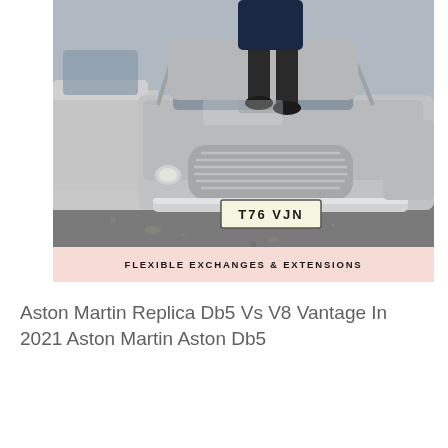[Figure (photo): Photo of a silver classic Aston Martin DB5 style car from the front, with a person standing behind it leaning on the hood. The car has a UK license plate reading T76 VJN. Another silver car is partially visible to the left. The setting is a car park or driveway. A pink/salmon banner overlaid at the bottom reads FLEXIBLE EXCHANGES & EXTENSIONS.]
FLEXIBLE EXCHANGES & EXTENSIONS
Aston Martin Replica Db5 Vs V8 Vantage In 2021 Aston Martin Aston Db5